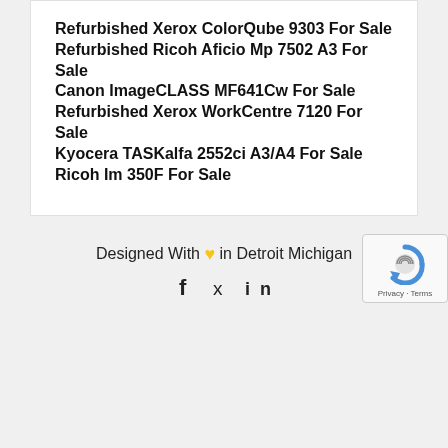Refurbished Xerox ColorQube 9303 For Sale
Refurbished Ricoh Aficio Mp 7502 A3 For Sale
Canon ImageCLASS MF641Cw For Sale
Refurbished Xerox WorkCentre 7120 For Sale
Kyocera TASKalfa 2552ci A3/A4 For Sale
Ricoh Im 350F For Sale
Designed With ♥ in Detroit Michigan  f  𝕏  in  Privacy · Terms